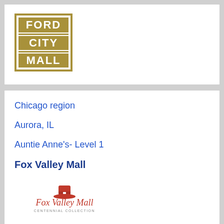[Figure (logo): Ford City Mall logo — gold/tan square grid with FORD CITY MALL text in block letters]
Chicago region
Aurora, IL
Auntie Anne's- Level 1
Fox Valley Mall
[Figure (logo): Fox Valley Mall logo with red hat icon above text reading 'Fox Valley Mall' and subtitle 'CENTENNIAL COLLECTION']
Chicago region